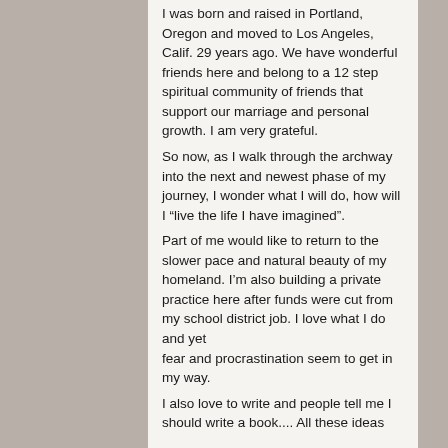I was born and raised in Portland, Oregon and moved to Los Angeles, Calif. 29 years ago. We have wonderful friends here and belong to a 12 step spiritual community of friends that support our marriage and personal growth. I am very grateful.
So now, as I walk through the archway into the next and newest phase of my journey, I wonder what I will do, how will I “live the life I have imagined”.
Part of me would like to return to the slower pace and natural beauty of my homeland. I’m also building a private practice here after funds were cut from my school district job. I love what I do and yet fear and procrastination seem to get in my way.
I also love to write and people tell me I should write a book.... All these ideas